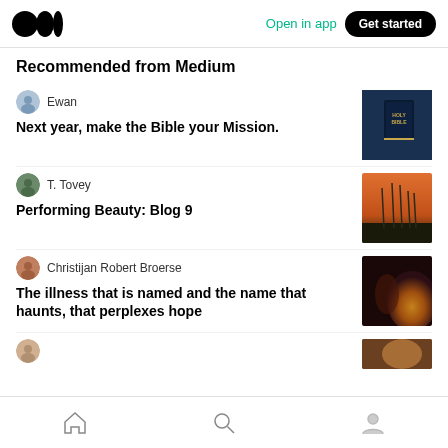Open in app | Get started
Recommended from Medium
Ewan — Next year, make the Bible your Mission.
T. Tovey — Performing Beauty: Blog 9
Christijan Robert Broerse — The illness that is named and the name that haunts, that perplexes hope
Home | Search | Profile